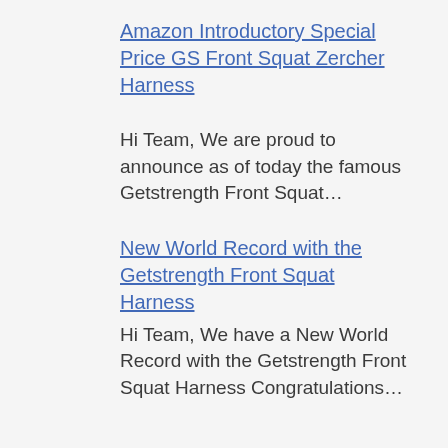Amazon Introductory Special Price GS Front Squat Zercher Harness
Hi Team, We are proud to announce as of today the famous Getstrength Front Squat…
New World Record with the Getstrength Front Squat Harness
Hi Team, We have a New World Record with the Getstrength Front Squat Harness Congratulations…